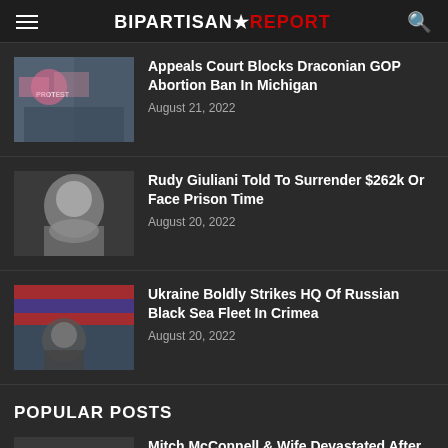BIPARTISAN REPORT
Appeals Court Blocks Draconian GOP Abortion Ban In Michigan — August 21, 2022
Rudy Giuliani Told To Surrender $262k Or Face Prison Time — August 20, 2022
Ukraine Boldly Strikes HQ Of Russian Black Sea Fleet In Crimea — August 20, 2022
POPULAR POSTS
Mitch McConnell & Wife Devastated After Wall St Journal Uncovers Financial...